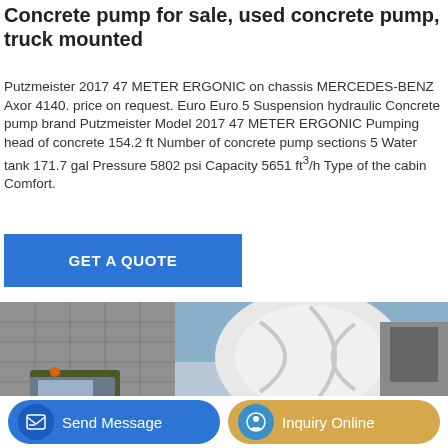Concrete pump for sale, used concrete pump, truck mounted
Putzmeister 2017 47 METER ERGONIC on chassis MERCEDES-BENZ Axor 4140. price on request. Euro Euro 5 Suspension hydraulic Concrete pump brand Putzmeister Model 2017 47 METER ERGONIC Pumping head of concrete 154.2 ft Number of concrete pump sections 5 Water tank 171.7 gal Pressure 5802 psi Capacity 5651 ft³/h Type of the cabin Comfort.
[Figure (other): Blue button labeled GET A QUOTE]
[Figure (photo): Photo of a concrete pump truck mounted vehicle parked near a building, showing the mixer drum and cab of the truck.]
Send Message | Inquiry Online